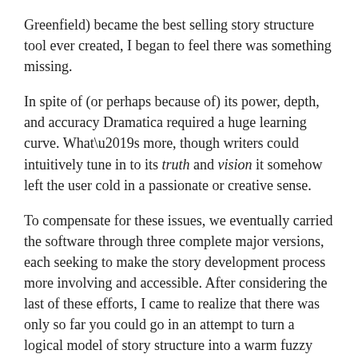Greenfield) became the best selling story structure tool ever created, I began to feel there was something missing.
In spite of (or perhaps because of) its power, depth, and accuracy Dramatica required a huge learning curve. What’s more, though writers could intuitively tune in to its truth and vision it somehow left the user cold in a passionate or creative sense.
To compensate for these issues, we eventually carried the software through three complete major versions, each seeking to make the story development process more involving and accessible. After considering the last of these efforts, I came to realize that there was only so far you could go in an attempt to turn a logical model of story structure into a warm fuzzy teddy bear of inspiration.
So began a personal eight-year journey on my part to connect with that other “touchy-feely” side of story